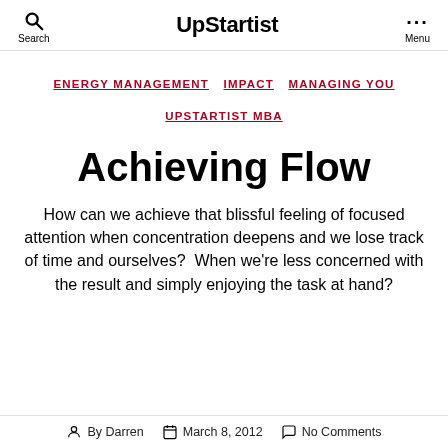UpStartist
ENERGY MANAGEMENT  IMPACT  MANAGING YOU  UPSTARTIST MBA
Achieving Flow
How can we achieve that blissful feeling of focused attention when concentration deepens and we lose track of time and ourselves?  When we're less concerned with the result and simply enjoying the task at hand?
By Darren  March 8, 2012  No Comments